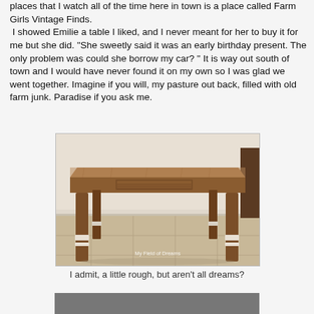places that I watch all of the time here in town is a place called Farm Girls Vintage Finds. I showed Emilie a table I liked, and I never meant for her to buy it for me but she did. "She sweetly said it was an early birthday present. The only problem was could she borrow my car? " It is way out south of town and I would have never found it on my own so I was glad we went together. Imagine if you will, my pasture out back, filled with old farm junk. Paradise if you ask me.
[Figure (photo): A rustic vintage wooden table with four legs on a tile floor, labeled 'My Field of Dreams' watermark at the bottom]
I admit, a little rough, but aren't all dreams?